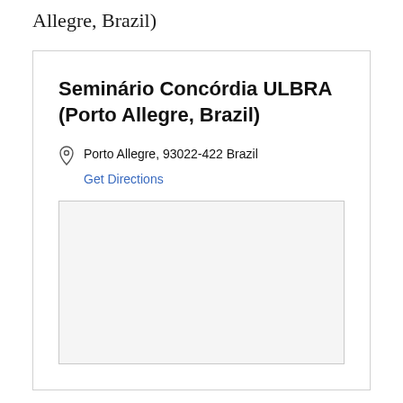Allegre, Brazil)
Seminário Concórdia ULBRA (Porto Allegre, Brazil)
Porto Allegre, 93022-422 Brazil
Get Directions
[Figure (map): Embedded map placeholder showing location of Seminário Concórdia ULBRA in Porto Allegre, Brazil]